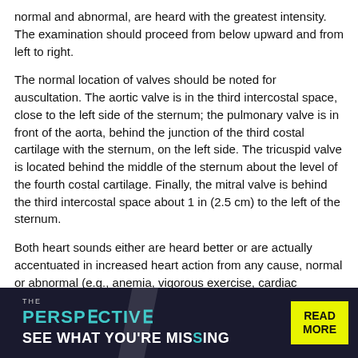normal and abnormal, are heard with the greatest intensity. The examination should proceed from below upward and from left to right.
The normal location of valves should be noted for auscultation. The aortic valve is in the third intercostal space, close to the left side of the sternum; the pulmonary valve is in front of the aorta, behind the junction of the third costal cartilage with the sternum, on the left side. The tricuspid valve is located behind the middle of the sternum about the level of the fourth costal cartilage. Finally, the mitral valve is behind the third intercostal space about 1 in (2.5 cm) to the left of the sternum.
Both heart sounds either are heard better or are actually accentuated in increased heart action from any cause, normal or abnormal (e.g., anemia, vigorous exercise, cardiac hypertrophy, thin chest walls, and lung consolidation as found in pneumonia). Accentuation of the aortic second sound results from hypertrophy of the left ventricle, increased arterial resistance (as in arteriosclerosis with hypertension), or aortic aneurysm. Accentuation of the pulmonary second sound results from pulmonary obstruction (as in emphysema, pneumonia, or hypertrophy of the right ventricle). Both heart sounds are poorly heard or are actually decreased in intensity in general obesity, general debility, degeneration or dilatation of
[Figure (other): Advertisement banner for 'The Perspective' publication with teal and black design, yellow 'READ MORE' button]